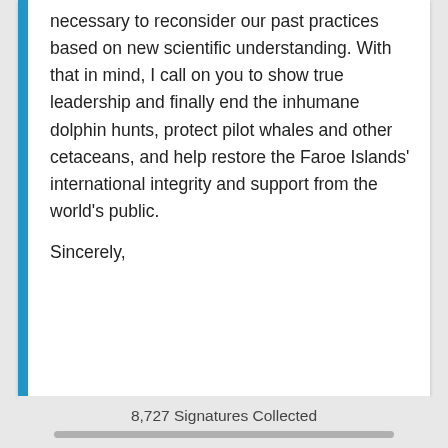necessary to reconsider our past practices based on new scientific understanding. With that in mind, I call on you to show true leadership and finally end the inhumane dolphin hunts, protect pilot whales and other cetaceans, and help restore the Faroe Islands' international integrity and support from the world's public.
Sincerely,
8,727 Signatures Collected